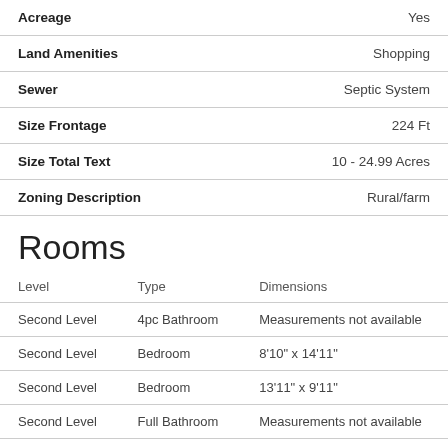| Property | Value |
| --- | --- |
| Acreage | Yes |
| Land Amenities | Shopping |
| Sewer | Septic System |
| Size Frontage | 224 Ft |
| Size Total Text | 10 - 24.99 Acres |
| Zoning Description | Rural/farm |
Rooms
| Level | Type | Dimensions |
| --- | --- | --- |
| Second Level | 4pc Bathroom | Measurements not available |
| Second Level | Bedroom | 8'10" x 14'11" |
| Second Level | Bedroom | 13'11" x 9'11" |
| Second Level | Full Bathroom | Measurements not available |